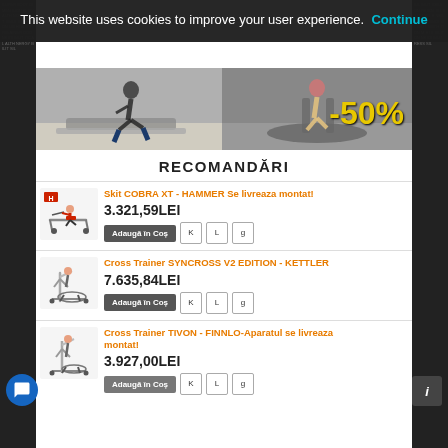This website uses cookies to improve your user experience. Continue
[Figure (photo): Banner image showing fitness equipment (treadmill, elliptical trainer) with a -50% sale graphic]
RECOMANDĂRI
[Figure (photo): Rowing machine product image - Skit COBRA XT HAMMER]
Skit COBRA XT - HAMMER Se livreaza montat!
3.321,59LEI
[Figure (photo): Elliptical cross trainer product image - SYNCROSS V2 EDITION KETTLER]
Cross Trainer SYNCROSS V2 EDITION - KETTLER
7.635,84LEI
[Figure (photo): Elliptical cross trainer product image - TIVON FINNLO]
Cross Trainer TIVON - FINNLO-Aparatul se livreaza montat!
3.927,00LEI